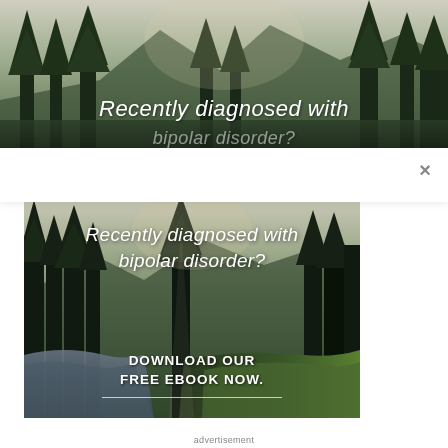[Figure (photo): Partial top banner showing forest/mountain landscape with white text overlay reading 'Recently diagnosed with bipolar disorder?' — cropped at bottom]
[Figure (photo): Popup advertisement showing a forest landscape with river, overlaid with white italic text 'Recently diagnosed with bipolar disorder?' and bold call-to-action 'DOWNLOAD OUR FREE EBOOK NOW.' with underline]
advertisement